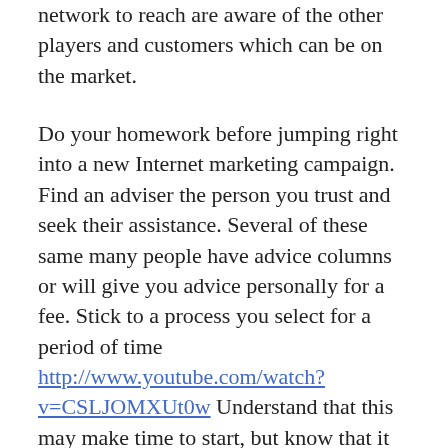network to reach are aware of the other players and customers which can be on the market.
Do your homework before jumping right into a new Internet marketing campaign. Find an adviser the person you trust and seek their assistance. Several of these same many people have advice columns or will give you advice personally for a fee. Stick to a process you select for a period of time http://www.youtube.com/watch?v=CSLJOMXUt0w Understand that this may make time to start, but know that it must be really worth your time and effort.
Email is a good marketing strategy. Create interesting newsletters that not only inform your potential customers, but intrigue them. You need the subscriber to feel as if you are providing valuable information for them via email, not spam. After someone visits your blog